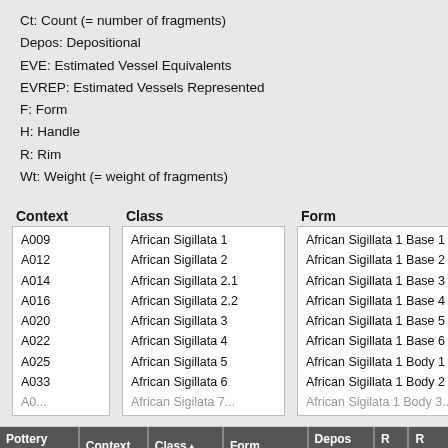Ct: Count (= number of fragments)
Depos: Depositional
EVE: Estimated Vessel Equivalents
EVREP: Estimated Vessels Represented
F: Form
H: Handle
R: Rim
Wt: Weight (= weight of fragments)
| Context | Class | Form |
| --- | --- | --- |
| A009 | African Sigillata 1 | African Sigillata 1 Base 1 |
| A012 | African Sigillata 2 | African Sigillata 1 Base 2 |
| A014 | African Sigillata 2.1 | African Sigillata 1 Base 3 |
| A016 | African Sigillata 2.2 | African Sigillata 1 Base 4 |
| A020 | African Sigillata 3 | African Sigillata 1 Base 5 |
| A022 | African Sigillata 4 | African Sigillata 1 Base 6 |
| A025 | African Sigillata 5 | African Sigillata 1 Body 1 |
| A033 | African Sigillata 6 | African Sigillata 1 Body 2 |
| ... | African Sigillata 7... | African Sigillata 1 Body 3... |
| Pottery Group | Context | Class▲ | Form | Depos Status | R Ct | R EVP |
| --- | --- | --- | --- | --- | --- | --- |
| PEB 281 |  | African | African Sigillata... |  |  |  |